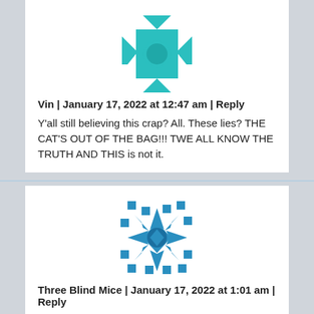[Figure (illustration): Teal decorative avatar icon with cross/quilt pattern for user Vin]
Vin | January 17, 2022 at 12:47 am | Reply
Y'all still believing this crap? All. These lies? THE CAT'S OUT OF THE BAG!!! TWE ALL KNOW THE TRUTH AND THIS is not it.
[Figure (illustration): Blue decorative avatar icon with star/quilt pattern for user Three Blind Mice]
Three Blind Mice | January 17, 2022 at 1:01 am | Reply